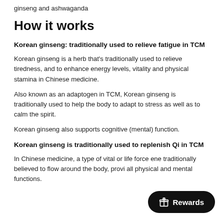ginseng and ashwaganda
How it works
Korean ginseng: traditionally used to relieve fatigue in TCM
Korean ginseng is a herb that’s traditionally used to relieve tiredness, and to enhance energy levels, vitality and physical stamina in Chinese medicine.
Also known as an adaptogen in TCM, Korean ginseng is traditionally used to help the body to adapt to stress as well as to calm the spirit.
Korean ginseng also supports cognitive (mental) function.
Korean ginseng is traditionally used to replenish Qi in TCM
In Chinese medicine, a type of vital or life force ene… traditionally believed to flow around the body, provi… y… all physical and mental functions.